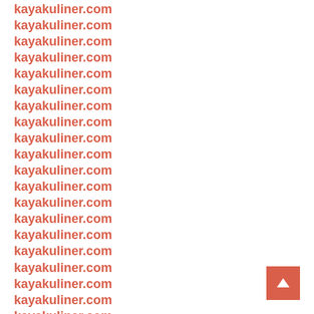kayakuliner.com
kayakuliner.com
kayakuliner.com
kayakuliner.com
kayakuliner.com
kayakuliner.com
kayakuliner.com
kayakuliner.com
kayakuliner.com
kayakuliner.com
kayakuliner.com
kayakuliner.com
kayakuliner.com
kayakuliner.com
kayakuliner.com
kayakuliner.com
kayakuliner.com
kayakuliner.com
kayakuliner.com
kayakuliner.com
kayakuliner.com